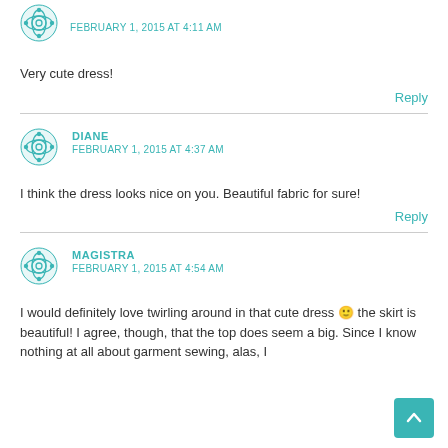[Figure (illustration): Decorative avatar icon — teal geometric/floral mandala pattern]
FEBRUARY 1, 2015 AT 4:11 AM
Very cute dress!
Reply
[Figure (illustration): Decorative avatar icon — teal geometric/floral mandala pattern]
DIANE
FEBRUARY 1, 2015 AT 4:37 AM
I think the dress looks nice on you. Beautiful fabric for sure!
Reply
[Figure (illustration): Decorative avatar icon — teal geometric/floral mandala pattern]
MAGISTRA
FEBRUARY 1, 2015 AT 4:54 AM
I would definitely love twirling around in that cute dress 🙂 the skirt is beautiful! I agree, though, that the top does seem a big. Since I know nothing at all about garment sewing, alas, I